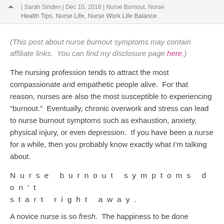Sarah Sinden | Dec 10, 2018 | Nurse Burnout, Nurse Health Tips, Nurse Life, Nurse Work Life Balance
(This post about nurse burnout symptoms may contain affiliate links.  You can find my disclosure page here.)
The nursing profession tends to attract the most compassionate and empathetic people alive.  For that reason, nurses are also the most susceptible to experiencing “burnout.”  Eventually, chronic overwork and stress can lead to nurse burnout symptoms such as exhaustion, anxiety, physical injury, or even depression.  If you have been a nurse for a while, then you probably know exactly what I’m talking about.
Nurse burnout symptoms don’t start right away.
A novice nurse is so fresh.  The happiness to be done